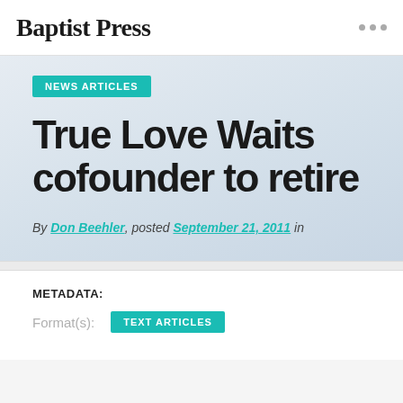Baptist Press
NEWS ARTICLES
True Love Waits cofounder to retire
By Don Beehler, posted September 21, 2011 in
METADATA:
Format(s): TEXT ARTICLES